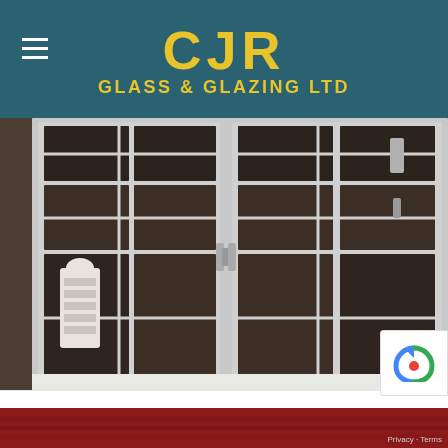CJR GLASS & GLAZING LTD
[Figure (photo): French windows / double glazed French doors with white frames and grid panes, showing decorative elements and interior view through glass]
FRENCH WINDOWS –
French windows offer excellent ventilation and are ideal for modern and contemporary homes. We offer quick double glazing replacements.
[Figure (photo): Partial view of a building with red/brick roof at the bottom of the page]